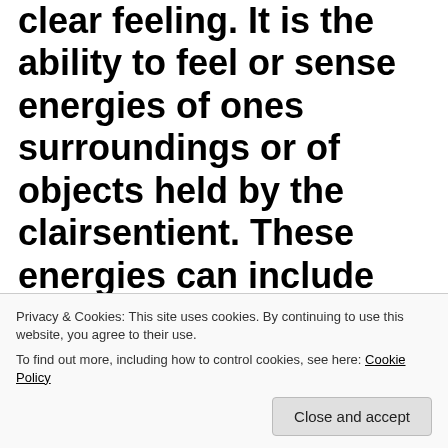clear feeling. It is the ability to feel or sense energies of ones surroundings or of objects held by the clairsentient. These energies can include those of the past, present, or future. It may also include the sensing of the physical or
Privacy & Cookies: This site uses cookies. By continuing to use this website, you agree to their use.
To find out more, including how to control cookies, see here: Cookie Policy
Close and accept